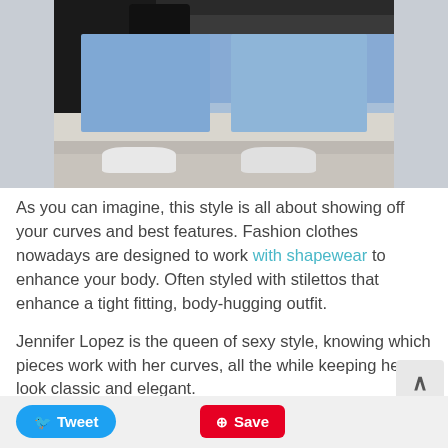[Figure (photo): Lower body fashion photo showing person wearing light blue frayed-hem jeans, a black coat, carrying a black bag, and wearing white heels, standing on cobblestone pavement]
As you can imagine, this style is all about showing off your curves and best features. Fashion clothes nowadays are designed to work with shapewear to enhance your body. Often styled with stilettos that enhance a tight fitting, body-hugging outfit.
Jennifer Lopez is the queen of sexy style, knowing which pieces work with her curves, all the while keeping her look classic and elegant.
[Figure (screenshot): Tweet and Save social share buttons at bottom of page]